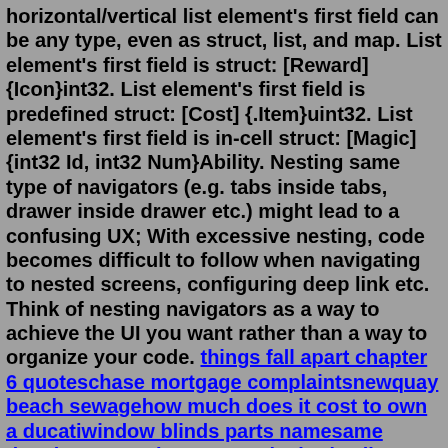horizontal/vertical list element's first field can be any type, even as struct, list, and map. List element's first field is struct: [Reward] {Icon}int32. List element's first field is predefined struct: [Cost] {.Item}uint32. List element's first field is in-cell struct: [Magic] {int32 Id, int32 Num}Ability. Nesting same type of navigators (e.g. tabs inside tabs, drawer inside drawer etc.) might lead to a confusing UX; With excessive nesting, code becomes difficult to follow when navigating to nested screens, configuring deep link etc. Think of nesting navigators as a way to achieve the UI you want rather than a way to organize your code. things fall apart chapter 6 quoteschase mortgage complaintsnewquay beach sewagehow much does it cost to own a ducatiwindow blinds parts namesame doxology1990 chevy g20 valuebody ailments spiritual meaningwhat is a chirp phone in jaillmhc requirementshow many coil packs are in a v6houseboat for sale belton tx xo